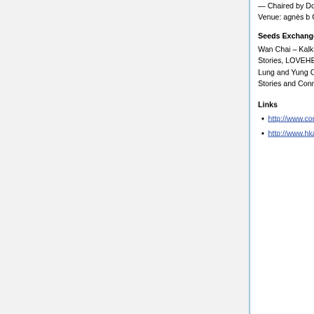— Chaired by Dominique Lämmli (CH) Co-organized with Hong Kong Arts Centre.
Venue: agnès b Cinema
Seeds Exchange
Wan Chai – Kalkbreite – North Point — Kalkbreite— by Hong Kong House of Stories, LOVEHERBS, Connecting Spaces | Mr Lung's Wood Workshop by Mr Lung and Yung Chun | Hong Kong House Live Cam by Hong Kong House of Stories and Connecting Space Hong Kong
Links
http://www.connectingspaces.ch/art-in-action-one-world-many-views/
http://www.hkac.org.hk/en/calendar.php?t=u&p=1&id=1545